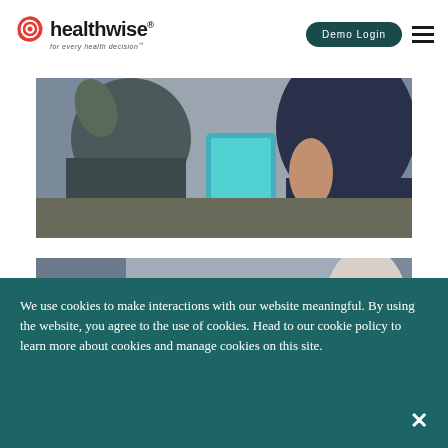[Figure (logo): Healthwise logo with red swirl icon, text 'healthwise' and tagline 'for every health decision']
[Figure (other): Demo Login button (dark teal rounded pill) and hamburger menu icon]
[Figure (photo): Two people looking at a tablet screen in a clinical or office setting, dark/muted tones]
[Figure (photo): Partial view of a second photo, mostly muted gray tones, appears to show a person]
We use cookies to make interactions with our website meaningful. By using the website, you agree to the use of cookies. Head to our cookie policy to learn more about cookies and manage cookies on this site.